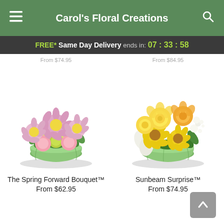Carol's Floral Creations
FREE* Same Day Delivery ends in: 07 : 33 : 58
From $74.95
[Figure (photo): Pink and lavender daisy bouquet with green carnations in a round green glass vase — The Spring Forward Bouquet]
[Figure (photo): Yellow roses and yellow daisies with white alstroemeria in a round green glass vase — Sunbeam Surprise]
The Spring Forward Bouquet™
From $62.95
Sunbeam Surprise™
From $74.95